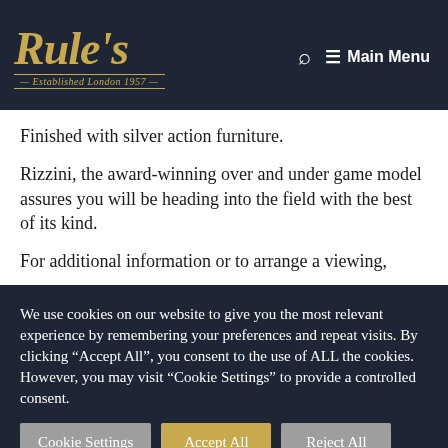Rule's — Established London 1957 | Main Menu
Finished with silver action furniture.
Rizzini, the award-winning over and under game model assures you will be heading into the field with the best of its kind.
For additional information or to arrange a viewing,
We use cookies on our website to give you the most relevant experience by remembering your preferences and repeat visits. By clicking "Accept All", you consent to the use of ALL the cookies. However, you may visit "Cookie Settings" to provide a controlled consent.